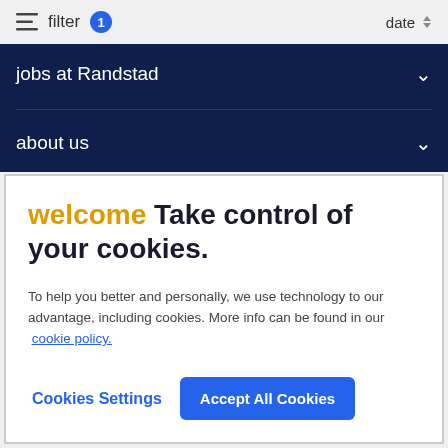filter 1  date
jobs at Randstad
about us
welcome Take control of your cookies.
To help you better and personally, we use technology to our advantage, including cookies. More info can be found in our cookie policy.
Cookies Settings  Accept All Cookies